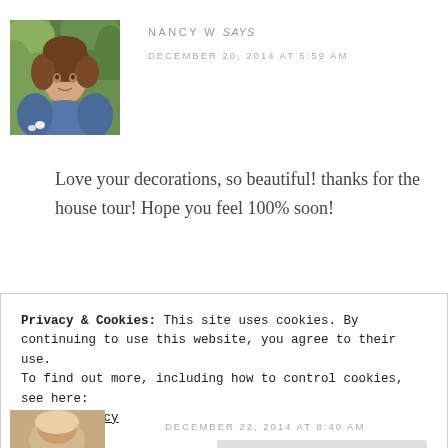[Figure (photo): Profile photo of Nancy W, a woman with short brown hair wearing a blue top, outdoors with green foliage background]
NANCY W says
DECEMBER 20, 2014 AT 5:59 AM
Love your decorations, so beautiful! thanks for the house tour! Hope you feel 100% soon!
Privacy & Cookies: This site uses cookies. By continuing to use this website, you agree to their use.
To find out more, including how to control cookies, see here:
Cookie Policy
Close and accept
DECEMBER 22, 2014 AT 8:40 AM